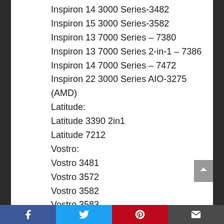Inspiron 14 3000 Series-3482
Inspiron 15 3000 Series-3582
Inspiron 13 7000 Series – 7380
Inspiron 13 7000 Series 2-in-1 – 7386
Inspiron 14 7000 Series – 7472
Inspiron 22 3000 Series AIO-3275 (AMD)
Latitude:
Latitude 3390 2in1
Latitude 7212
Vostro:
Vostro 3481
Vostro 3572
Vostro 3582
Vostro 3583
Vostro 5370
Facebook | Twitter | Pinterest | Email